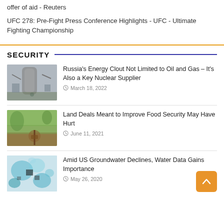offer of aid - Reuters
UFC 278: Pre-Fight Press Conference Highlights - UFC - Ultimate Fighting Championship
SECURITY
[Figure (photo): Industrial/rocket equipment photo - large cylindrical structure]
Russia's Energy Clout Not Limited to Oil and Gas – It's Also a Key Nuclear Supplier
March 18, 2022
[Figure (photo): Agricultural land / field with cut tree stump]
Land Deals Meant to Improve Food Security May Have Hurt
June 11, 2021
[Figure (photo): Satellite/map data visualization of groundwater]
Amid US Groundwater Declines, Water Data Gains Importance
May 26, 2020